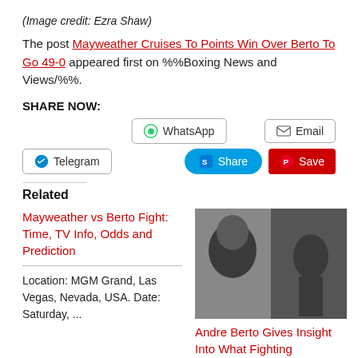(Image credit: Ezra Shaw)
The post Mayweather Cruises To Points Win Over Berto To Go 49-0 appeared first on %%Boxing News and Views/%%.
SHARE NOW:
[Figure (other): Social share buttons: WhatsApp, Email, Telegram, Share (Skype), Save (Pinterest)]
Related
Mayweather vs Berto Fight: Time, TV Info, Odds and Prediction
Location: MGM Grand, Las Vegas, Nevada, USA. Date: Saturday, ...
[Figure (photo): Photo of Andre Berto and Floyd Mayweather]
Andre Berto Gives Insight Into What Fighting Mayweather Is Actually Like